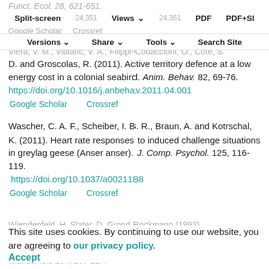Funct. Ecol. 28, 621-651.
Split-screen | Views | PDF | PDF+SI
Google Scholar   Crossref
Versions | Share | Tools | Search Site
Viera, V. M., Viblanc, V. A., Filippi-Codaccioni, O., Côté, S.
D. and Groscolas, R. (2011). Active territory defence at a low energy cost in a colonial seabird. Anim. Behav. 82, 69-76.  https://doi.org/10.1016/j.anbehav.2011.04.001
Google Scholar   Crossref
Wascher, C. A. F., Scheiber, I. B. R., Braun, A. and Kotrschal, K. (2011). Heart rate responses to induced challenge situations in greylag geese (Anser anser). J. Comp. Psychol. 125, 116-119.
 https://doi.org/10.1037/a0021188
Google Scholar   Crossref
This site uses cookies. By continuing to use our website, you are agreeing to our privacy policy.
Accept